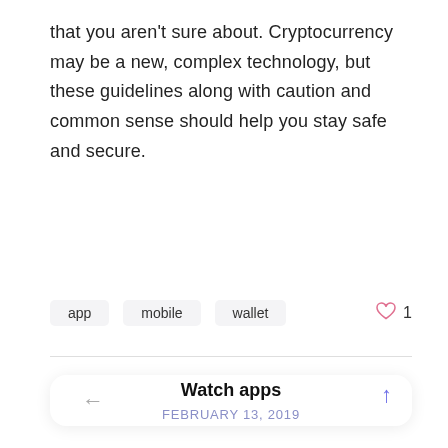that you aren't sure about. Cryptocurrency may be a new, complex technology, but these guidelines along with caution and common sense should help you stay safe and secure.
app   mobile   wallet   ♡ 1
Watch apps
FEBRUARY 13, 2019